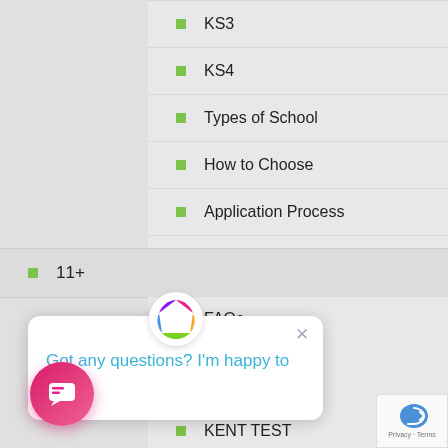KS3
KS4
Types of School
How to Choose
Application Process
11+
FAQs
CSSE
CEM
KENT TEST
[Figure (screenshot): Chat popup widget with S6 logo, close button, and text 'Got any questions? I'm happy to help.' Also a pink chat launcher button and reCAPTCHA badge.]